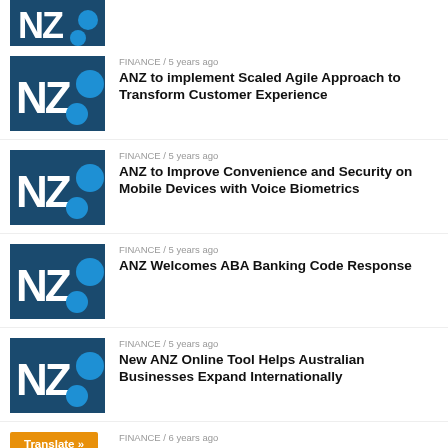[Figure (logo): ANZ bank logo - dark blue background with NZ letters and blue dots - partial/cropped at top]
FINANCE / 5 years ago
ANZ to implement Scaled Agile Approach to Transform Customer Experience
FINANCE / 5 years ago
ANZ to Improve Convenience and Security on Mobile Devices with Voice Biometrics
FINANCE / 5 years ago
ANZ Welcomes ABA Banking Code Response
FINANCE / 5 years ago
New ANZ Online Tool Helps Australian Businesses Expand Internationally
FINANCE / 6 years ago
Reduce Credit Card Rates to Lowest Since...